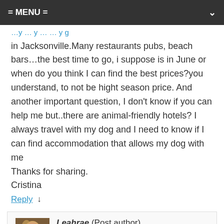= MENU =
in Jacksonville.Many restaurants pubs, beach bars…the best time to go, i suppose is in June or when do you think I can find the best prices?you understand, to not be hight season price. And another important question, I don't know if you can help me but..there are animal-friendly hotels? I always travel with my dog and I need to know if I can find accommodation that allows my dog with me
Thanks for sharing.
Cristina
Reply ↓
Leahrae (Post author)
January 9, 2017 at 3:16 pm
High season is going to be June thru August. Any other time is fine. These three Jacksonville beach hotels are dog friendly: